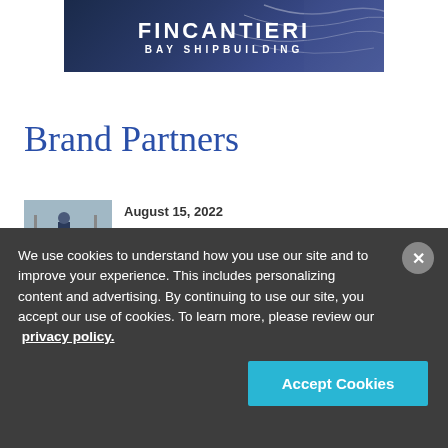[Figure (logo): Fincantieri Bay Shipbuilding advertisement banner with dark blue gradient background and white curved lines, showing company name and tagline]
Brand Partners
[Figure (photo): Thumbnail photo of a person at a podium or outdoor event]
August 15, 2022
Massachusetts Maritime Academy First in Nation to Offer Five Module CWO
We use cookies to understand how you use our site and to improve your experience. This includes personalizing content and advertising. By continuing to use our site, you accept our use of cookies. To learn more, please review our privacy policy.